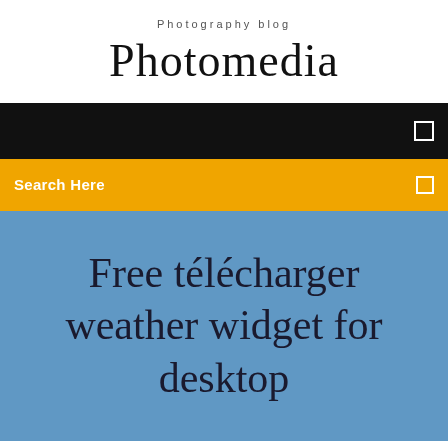Photography blog
Photomedia
[Figure (screenshot): Black navigation bar with a small white square icon on the right]
[Figure (screenshot): Yellow/amber search bar with 'Search Here' text in white on the left and a small white square icon on the right]
Free télécharger weather widget for desktop